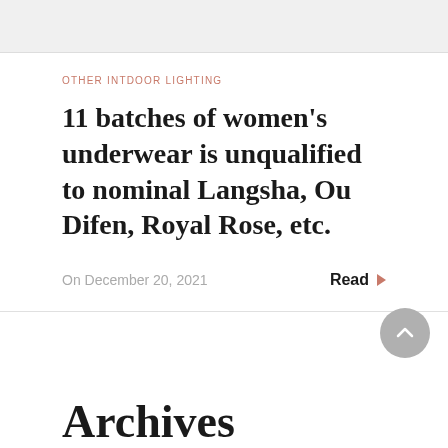OTHER INTDOOR LIGHTING
11 batches of women's underwear is unqualified to nominal Langsha, Ou Difen, Royal Rose, etc.
On December 20, 2021
Read
Archives